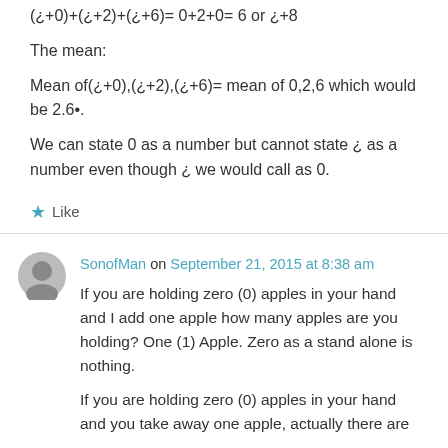(¿+0)+(¿+2)+(¿+6)= 0+2+0= 6 or ¿+8
The mean:
Mean of(¿+0),(¿+2),(¿+6)= mean of 0,2,6 which would be 2.6•.
We can state 0 as a number but cannot state ¿ as a number even though ¿ we would call as 0.
Like
SonofMan on September 21, 2015 at 8:38 am
If you are holding zero (0) apples in your hand and I add one apple how many apples are you holding? One (1) Apple. Zero as a stand alone is nothing.
If you are holding zero (0) apples in your hand and you take away one apple, actually there are